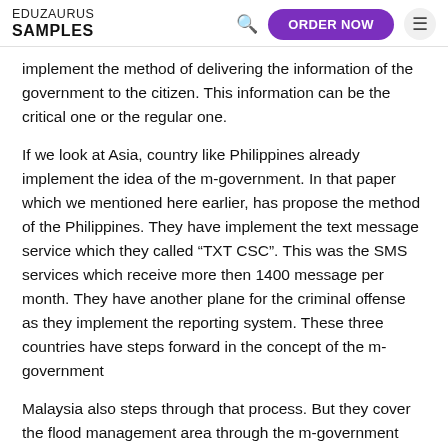EDUZAURUS SAMPLES | ORDER NOW
implement the method of delivering the information of the government to the citizen. This information can be the critical one or the regular one.
If we look at Asia, country like Philippines already implement the idea of the m-government. In that paper which we mentioned here earlier, has propose the method of the Philippines. They have implement the text message service which they called “TXT CSC”. This was the SMS services which receive more then 1400 message per month. They have another plane for the criminal offense as they implement the reporting system. These three countries have steps forward in the concept of the m-government
Malaysia also steps through that process. But they cover the flood management area through the m-government process. As the message is sent in times of flood alert, the